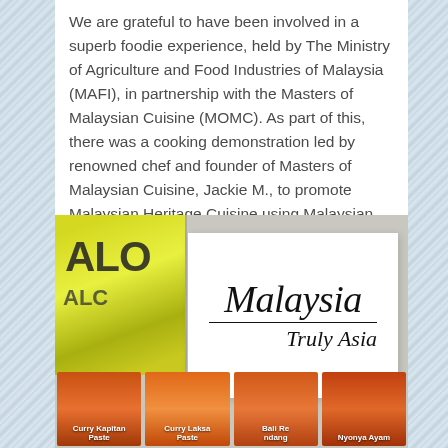We are grateful to have been involved in a superb foodie experience, held by The Ministry of Agriculture and Food Industries of Malaysia (MAFI), in partnership with the Masters of Malaysian Cuisine (MOMC). As part of this, there was a cooking demonstration led by renowned chef and founder of Masters of Malaysian Cuisine, Jackie M., to promote Malaysian Heritage Cuisine using Malaysian ingredients.
[Figure (photo): Photo showing a 'Malaysia Truly Asia' white card sign displayed prominently, with ALO branded drink packets on the left and spice/curry paste packets (Curry Kapitan Paste, Curry Laksa Paste, Bali Rendang, Nyonya Ayam) along the bottom foreground.]